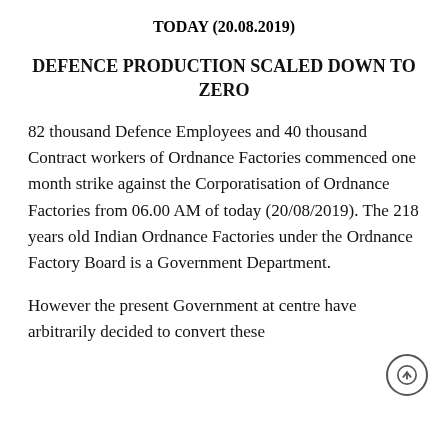TODAY (20.08.2019)
DEFENCE PRODUCTION SCALED DOWN TO ZERO
82 thousand Defence Employees and 40 thousand Contract workers of Ordnance Factories commenced one month strike against the Corporatisation of Ordnance Factories from 06.00 AM of today (20/08/2019). The 218 years old Indian Ordnance Factories under the Ordnance Factory Board is a Government Department.
However the present Government at centre have arbitrarily decided to convert these